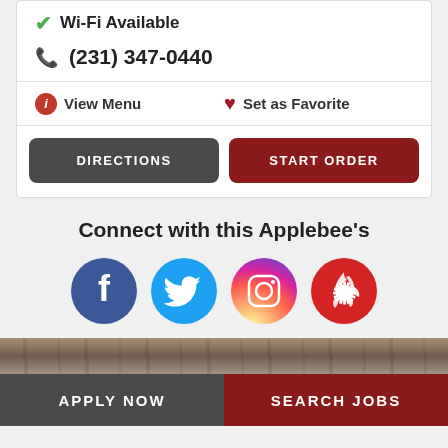✓ Wi-Fi Available
(231) 347-0440
View Menu
Set as Favorite
DIRECTIONS
START ORDER
Connect with this Applebee's
[Figure (illustration): Social media icons: Facebook, Twitter, Instagram, Yelp]
[Figure (photo): Dark wood grain texture strip]
APPLY NOW
SEARCH JOBS